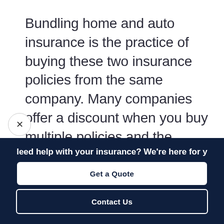Bundling home and auto insurance is the practice of buying these two insurance policies from the same company. Many companies offer a discount when you buy multiple policies and the paperwork can sometimes be easier this way. People often ask us, "Should I bundle
Need help with your insurance? We're here for y
Get a Quote
Contact Us